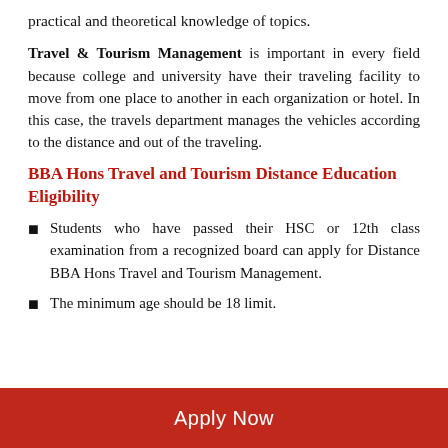practical and theoretical knowledge of topics.
Travel & Tourism Management is important in every field because college and university have their traveling facility to move from one place to another in each organization or hotel. In this case, the travels department manages the vehicles according to the distance and out of the traveling.
BBA Hons Travel and Tourism Distance Education Eligibility
Students who have passed their HSC or 12th class examination from a recognized board can apply for Distance BBA Hons Travel and Tourism Management.
The minimum age should be 18 limit.
Apply Now